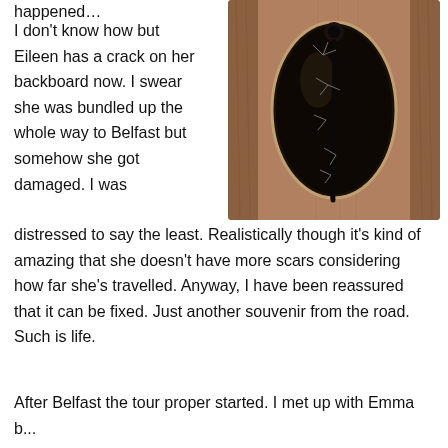happened…
[Figure (photo): Close-up photograph of a guitar soundhole showing a cracked backboard with small cracks/damage visible on the dark wood inside the oval opening, with a strap or cable visible]
I don't know how but Eileen has a crack on her backboard now. I swear she was bundled up the whole way to Belfast but somehow she got damaged. I was distressed to say the least. Realistically though it's kind of amazing that she doesn't have more scars considering how far she's travelled. Anyway, I have been reassured that it can be fixed. Just another souvenir from the road. Such is life.
After Belfast the tour proper started. I met up with Emma b...